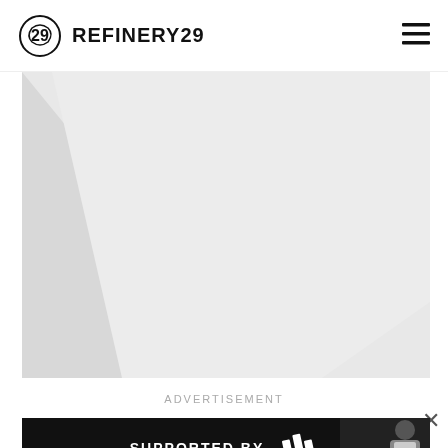REFINERY29
[Figure (photo): Large placeholder/broken image area with light gray diagonal shape on white/light gray background]
ADVERTISEMENT
[Figure (photo): Adidas advertisement banner: black background with 'SUPPORTED BY adidas' text and logo, with a figure in sports attire on the right side]